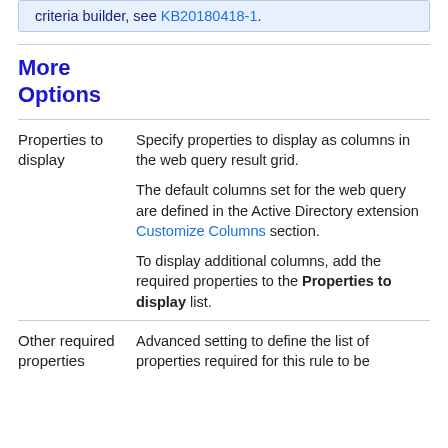criteria builder, see KB20180418-1.
More Options
Properties to display
Specify properties to display as columns in the web query result grid.

The default columns set for the web query are defined in the Active Directory extension Customize Columns section.

To display additional columns, add the required properties to the Properties to display list.
Other required properties
Advanced setting to define the list of properties required for this rule to be